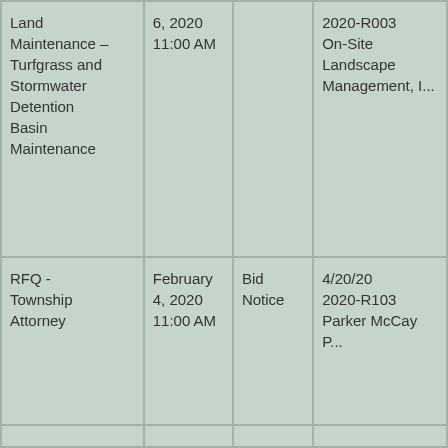| Description | Date | Type | Info |
| --- | --- | --- | --- |
| Land Maintenance – Turfgrass and Stormwater Detention Basin Maintenance | 6, 2020
11:00 AM |  | 2020-R003
On-Site Landscape Management, ... |
| RFQ - Township Attorney | February 4, 2020
11:00 AM | Bid Notice | 4/20/20
2020-R103
Parker McCay P... |
|  |  |  |  |